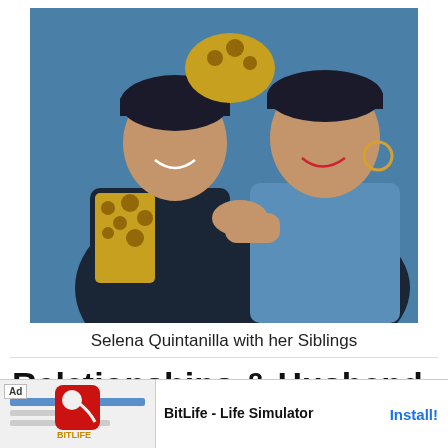[Figure (photo): Photograph of Selena Quintanilla with her siblings, two people posing together, one wearing a leopard print top and baseball cap, the other wearing a denim shirt and dark cap, against a blue background]
Selena Quintanilla with her Siblings
Relationships & Husband
In 198
[Figure (screenshot): Advertisement for BitLife - Life Simulator app. Shows Ad badge, app icon with sperm cell logo on red background, app name 'BitLife - Life Simulator', and Install button in blue.]